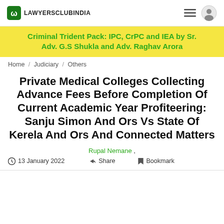LAWYERSCLUBINDIA
Criminal Trident Pack: IPC, CrPC and IEA by Sr. Adv. G.S Shukla and Adv. Raghav Arora
Home / Judiciary / Others
Private Medical Colleges Collecting Advance Fees Before Completion Of Current Academic Year Profiteering: Sanju Simon And Ors Vs State Of Kerela And Ors And Connected Matters
Rupal Nemane ,
13 January 2022   Share   Bookmark